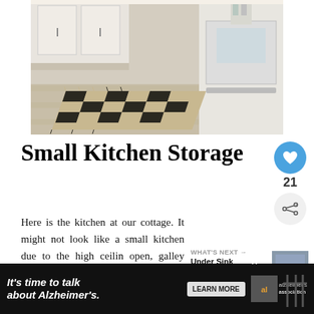[Figure (photo): Kitchen interior with white cabinets, white appliances, and a black-and-tan plaid/checkered runner rug on light wood floors]
Small Kitchen Storage
Here is the kitchen at our cottage. It might not look like a small kitchen due to the high ceilin open, galley style layout but a closer look w that the storage we have is limited and awkwardly
[Figure (photo): Thumbnail image for Under Sink Organization article]
WHAT'S NEXT → Under Sink Organizatio...
[Figure (photo): Advertisement banner: It's time to talk about Alzheimer's. Alzheimer's Association. LEARN MORE button.]